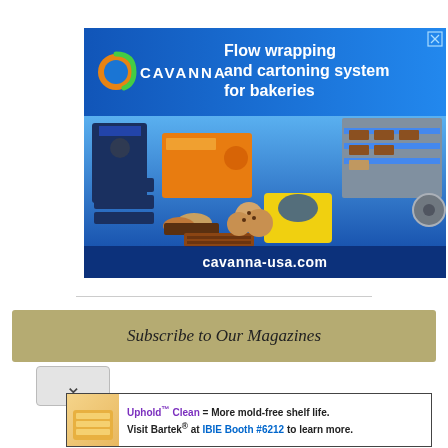[Figure (advertisement): Cavanna advertisement for flow wrapping and cartoning system for bakeries. Blue background with Cavanna logo (orange/green swirl C), headline text, bakery products displayed, and URL cavanna-usa.com at bottom.]
Subscribe to Our Magazines
[Figure (advertisement): Bartek advertisement: bread/toast image on left. Text reads: Uphold™ Clean = More mold-free shelf life. Visit Bartek® at IBIE Booth #6212 to learn more.]